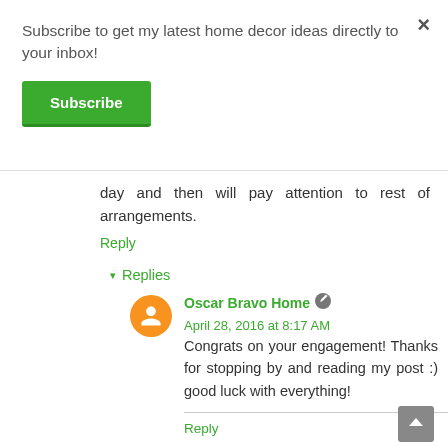Subscribe to get my latest home decor ideas directly to your inbox!
Subscribe
day and then will pay attention to rest of arrangements.
Reply
▾ Replies
Oscar Bravo Home  April 28, 2016 at 8:17 AM
Congrats on your engagement! Thanks for stopping by and reading my post :) good luck with everything!
Reply